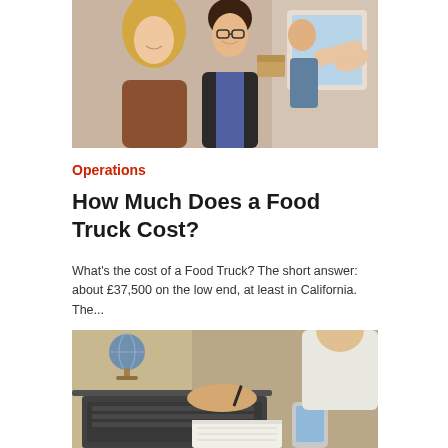[Figure (photo): Two smiling people (a woman with blonde hair and a man) receiving food from a food truck window, with a third person visible in the background.]
Operations
How Much Does a Food Truck Cost?
What's the cost of a Food Truck? The short answer: about £37,500 on the low end, at least in California. The...
[Figure (photo): Person working at a laptop with a pen in hand, holding a smartphone, with a notebook and globe in the background.]